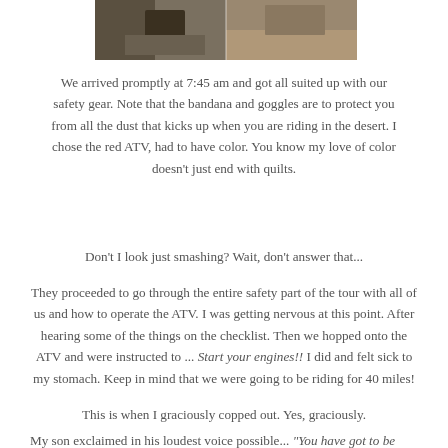[Figure (photo): Top portion of a photo showing ATVs and desert terrain, split into two panels]
We arrived promptly at 7:45 am and got all suited up with our safety gear. Note that the bandana and goggles are to protect you from all the dust that kicks up when you are riding in the desert. I chose the red ATV, had to have color. You know my love of color doesn't just end with quilts.
Don't I look just smashing? Wait, don't answer that...
They proceeded to go through the entire safety part of the tour with all of us and how to operate the ATV. I was getting nervous at this point. After hearing some of the things on the checklist. Then we hopped onto the ATV and were instructed to ... Start your engines!! I did and felt sick to my stomach. Keep in mind that we were going to be riding for 40 miles!
This is when I graciously copped out. Yes, graciously.
My son exclaimed in his loudest voice possible... "You have got to be